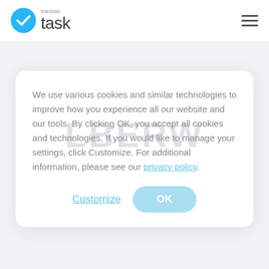[Figure (logo): MeisterTask logo: blue circle with white checkmark, followed by text 'meister' in small gray above 'task' in large light gray font]
[Figure (other): Hamburger menu icon (three horizontal lines) in top right corner]
[Figure (screenshot): Partially visible background card with bold gray text 'SPORT' in a bordered rectangle]
We use various cookies and similar technologies to improve how you experience all our website and our tools. By clicking OK, you accept all cookies and technologies. If you would like to manage your settings, click Customize. For additional information, please see our privacy policy.
[Figure (other): Customize button (text link) and OK button (blue rounded pill button) at bottom of cookie consent modal]